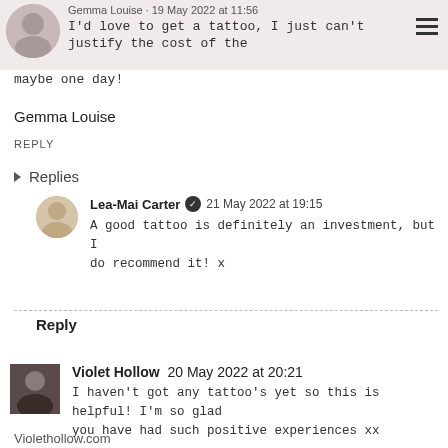Gemma Louise · 19 May 2022 at 11:56
I'd love to get a tattoo, I just can't justify the cost of the... maybe one day!
Gemma Louise
REPLY
Replies
Lea-Mai Carter ✓ 21 May 2022 at 19:15
A good tattoo is definitely an investment, but I do recommend it! x
Reply
Violet Hollow 20 May 2022 at 20:21
I haven't got any tattoo's yet so this is helpful! I'm so glad you have had such positive experiences xx
Violethollow.com